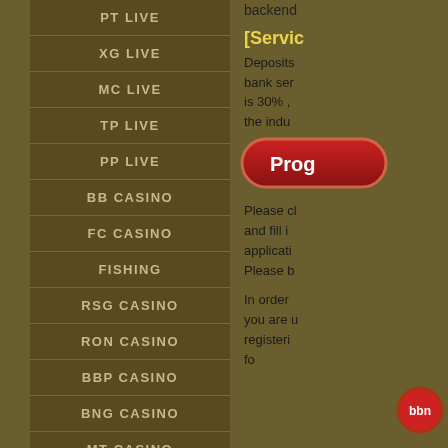PT LIVE
XG LIVE
MC LIVE
TP LIVE
PP LIVE
BB CASINO
FC CASINO
FISHING
RSG CASINO
RON CASINO
BBP CASINO
BNG CASINO
MT CASINO
PS CASINO
backend
[Servic
Deposits bank ser is 30% , the indu
[Figure (other): Program button - red rounded button with text 'Prog']
Please cl and fill i applicati Please b
In order you are u registeri fo
[Figure (logo): BBN logo - red circular badge with white text 'bbn']